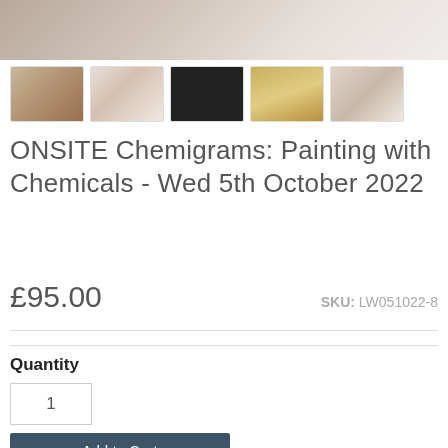[Figure (photo): Top hero image showing hands doing craft/art activity with chemicals on paper, partially cropped]
[Figure (photo): Row of 5 thumbnail images showing various chemigram art workshop activities]
ONSITE Chemigrams: Painting with Chemicals - Wed 5th October 2022
£95.00
SKU: LW051022-8
Quantity
1
Add to Cart